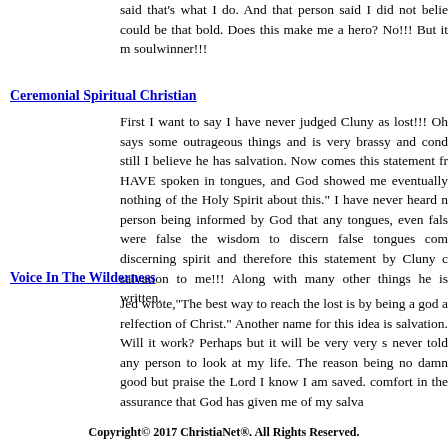said that's what I do. And that person said I did not belie could be that bold. Does this make me a hero? No!!! But it m soulwinner!!!
Ceremonial Spiritual Christian
First I want to say I have never judged Cluny as lost!!! Oh says some outrageous things and is very brassy and cond still I believe he has salvation. Now comes this statement fr HAVE spoken in tongues, and God showed me eventually nothing of the Holy Spirit about this." I have never heard n person being informed by God that any tongues, even fals were false the wisdom to discern false tongues com discerning spirit and therefore this statement by Cluny c salvation to me!!! Along with many other things he is written.
Voice In The Wilderness
Jed wrote,"The best way to reach the lost is by being a god a relfection of Christ." Another name for this idea is salvation. Will it work? Perhaps but it will be very very s never told any person to look at my life. The reason being no damn good but praise the Lord I know I am saved. comfort in the assurance that God has given me of my salva
Copyright© 2017 ChristiaNet®. All Rights Reserved.